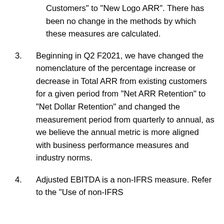Customers" to "New Logo ARR". There has been no change in the methods by which these measures are calculated.
3. Beginning in Q2 F2021, we have changed the nomenclature of the percentage increase or decrease in Total ARR from existing customers for a given period from "Net ARR Retention" to "Net Dollar Retention" and changed the measurement period from quarterly to annual, as we believe the annual metric is more aligned with business performance measures and industry norms.
4. Adjusted EBITDA is a non-IFRS measure. Refer to the "Use of non-IFRS measures" ...